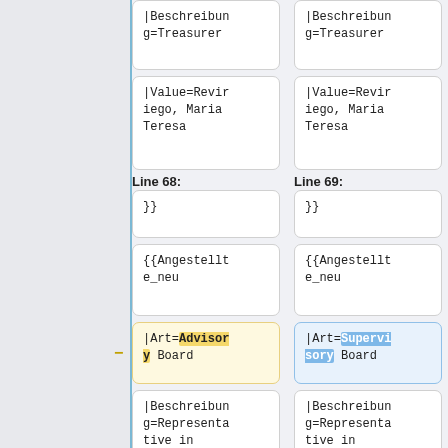|Beschreibung=Treasurer
|Beschreibung=Treasurer
|Value=Reviriego, Maria Teresa
|Value=Reviriego, Maria Teresa
Line 68:
Line 69:
}}
}}
{{Angestellte_neu
{{Angestellte_neu
|Art=Advisory Board
|Art=Supervisory Board
|Beschreibung=Representative in Uruguay
|Beschreibung=Representative in Uruguay
|Value=López Göttig,
|Value=López Göttig,